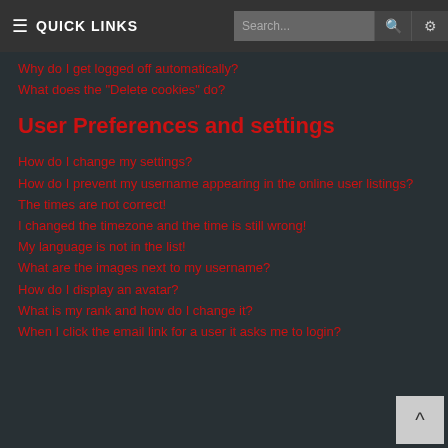≡ QUICK LINKS  Search...
Why do I get logged off automatically?
What does the "Delete cookies" do?
User Preferences and settings
How do I change my settings?
How do I prevent my username appearing in the online user listings?
The times are not correct!
I changed the timezone and the time is still wrong!
My language is not in the list!
What are the images next to my username?
How do I display an avatar?
What is my rank and how do I change it?
When I click the email link for a user it asks me to login?